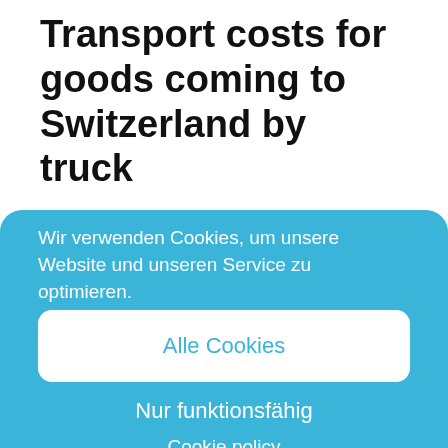Transport costs for goods coming to Switzerland by truck
Shipping of goods by forwarding agent: Switzerland and Liechtenstein as a country of receipt – what costs do you have to expect? Depending on the size and weight of the shipment, shipping to Switzerland is possible for as little as a few hundred euros. However, it is important to
Wir verwenden Cookies, um unsere Website und unseren Service zu optimieren.
Alle Cookies
Nur funktionsfähig
Cookie policy